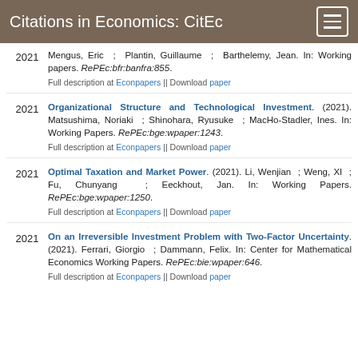Citations in Economics: CitEc
2021 — Mengus, Eric ; Plantin, Guillaume ; Barthelemy, Jean. In: Working papers. RePEc:bfr:banfra:855. Full description at Econpapers || Download paper
2021 — Organizational Structure and Technological Investment. (2021). Matsushima, Noriaki ; Shinohara, Ryusuke ; MacHo-Stadler, Ines. In: Working Papers. RePEc:bge:wpaper:1243. Full description at Econpapers || Download paper
2021 — Optimal Taxation and Market Power. (2021). Li, Wenjian ; Weng, XI ; Fu, Chunyang ; Eeckhout, Jan. In: Working Papers. RePEc:bge:wpaper:1250. Full description at Econpapers || Download paper
2021 — On an Irreversible Investment Problem with Two-Factor Uncertainty. (2021). Ferrari, Giorgio ; Dammann, Felix. In: Center for Mathematical Economics Working Papers. RePEc:bie:wpaper:646. Full description at Econpapers || Download paper